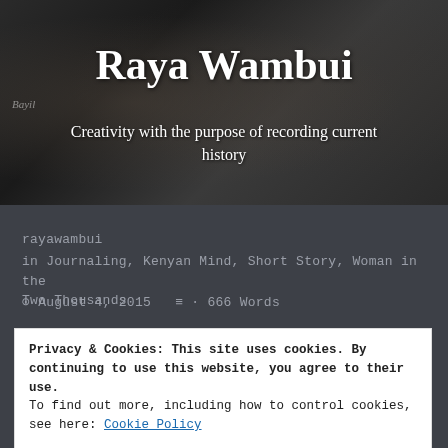[Figure (photo): Black and white photo of a woman as hero banner background for blog 'Raya Wambui']
Raya Wambui
Creativity with the purpose of recording current history
rayawambui
in Journaling, Kenyan Mind, Short Story, Woman in the Two Thousands
August 4, 2015  · 666 Words
Privacy & Cookies: This site uses cookies. By continuing to use this website, you agree to their use.
To find out more, including how to control cookies, see here: Cookie Policy
Close and accept
Sometimes, its better for people to represent